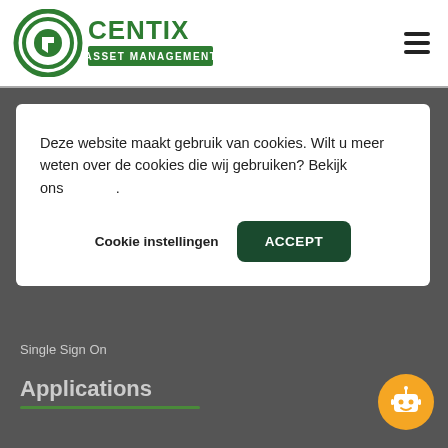[Figure (logo): Centix Asset Management logo with circular green icon and green text]
Deze website maakt gebruik van cookies. Wilt u meer weten over de cookies die wij gebruiken? Bekijk ons .
Cookie instellingen
ACCEPT
Single Sign On
Applications
[Figure (illustration): Orange circular chatbot robot icon button in bottom right corner]